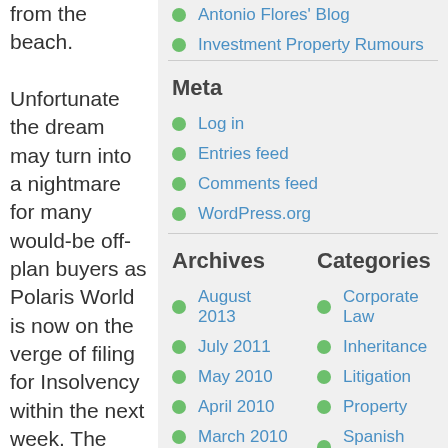from the beach. Unfortunate the dream may turn into a nightmare for many would-be off-plan buyers as Polaris World is now on the verge of filing for Insolvency within the next week. The events which have
Antonio Flores' Blog
Investment Property Rumours
Meta
Log in
Entries feed
Comments feed
WordPress.org
Archives
August 2013
July 2011
May 2010
April 2010
March 2010
February 2010
January 2010
Categories
Corporate Law
Inheritance
Litigation
Property
Spanish Mortgages
Spanish Rentals
Taxes